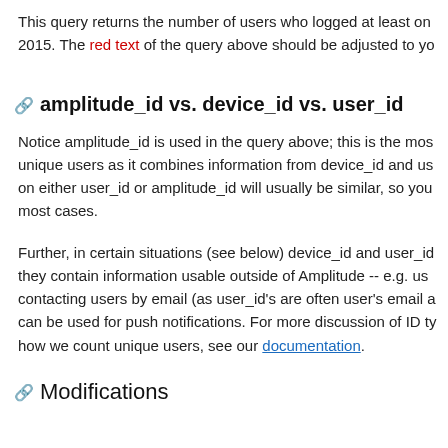This query returns the number of users who logged at least on 2015. The red text of the query above should be adjusted to yo
amplitude_id vs. device_id vs. user_id
Notice amplitude_id is used in the query above; this is the most unique users as it combines information from device_id and us on either user_id or amplitude_id will usually be similar, so you most cases.
Further, in certain situations (see below) device_id and user_id they contain information usable outside of Amplitude -- e.g. us contacting users by email (as user_id's are often user's email a can be used for push notifications. For more discussion of ID ty how we count unique users, see our documentation.
Modifications